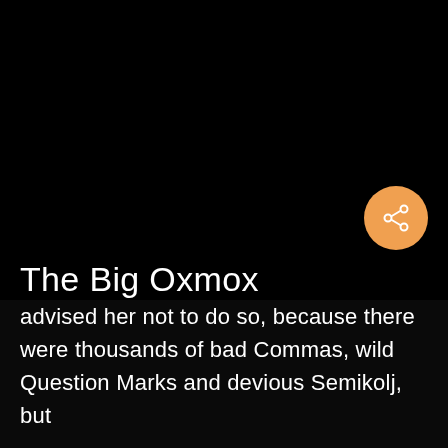[Figure (other): Large black background area occupying the upper portion of the page, likely a video or image placeholder]
The Big Oxmox
advised her not to do so, because there were thousands of bad Commas, wild Question Marks and devious Semikolj, but